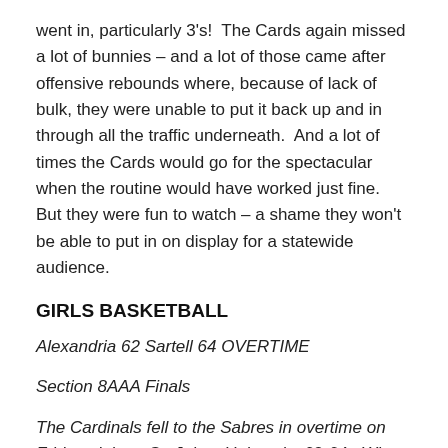went in, particularly 3's!  The Cards again missed a lot of bunnies – and a lot of those came after offensive rebounds where, because of lack of bulk, they were unable to put it back up and in through all the traffic underneath.  And a lot of times the Cards would go for the spectacular when the routine would have worked just fine.  But they were fun to watch – a shame they won't be able to put in on display for a statewide audience.
GIRLS BASKETBALL
Alexandria 62 Sartell 64 OVERTIME
Section 8AAA Finals
The Cardinals fell to the Sabres in overtime on Friday night at St. Johns University 62-64.  What a heartbreaker to end such a successful season. The game was tied 7